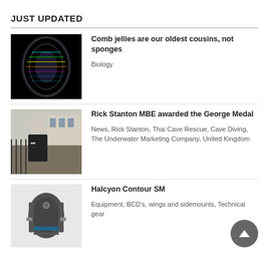JUST UPDATED
[Figure (photo): Comb jellyfish glowing with iridescent colors on black background]
Comb jellies are our oldest cousins, not sponges
Biology
[Figure (photo): Rick Stanton in a suit holding a medal outside Buckingham Palace gates]
Rick Stanton MBE awarded the George Medal
News, Rick Stanton, Thai Cave Rescue, Cave Diving, The Underwater Marketing Company, United Kingdom
[Figure (photo): Halcyon Contour SM BCD backplate and wing on white background]
Halcyon Contour SM
Equipment, BCD's, wings and sidemounts, Technical gear